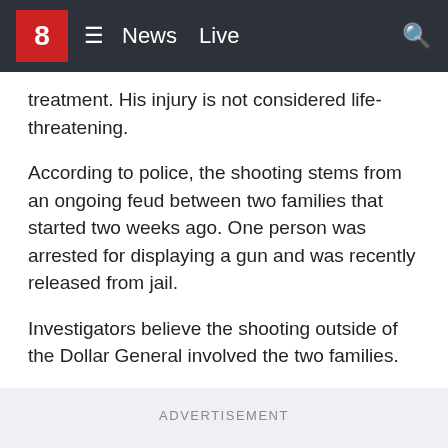8 News Live
treatment. His injury is not considered life-threatening.
According to police, the shooting stems from an ongoing feud between two families that started two weeks ago. One person was arrested for displaying a gun and was recently released from jail.
Investigators believe the shooting outside of the Dollar General involved the two families.
ADVERTISEMENT
The investigation into the incident is ongoing.
Copyright 2021 WVUE. All rights reserved.